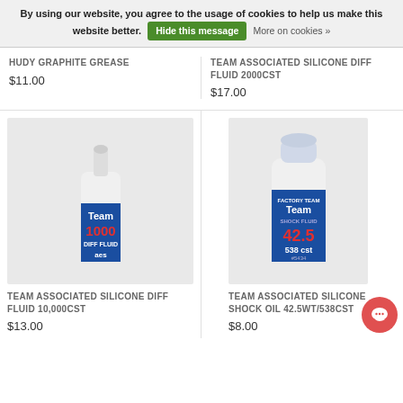By using our website, you agree to the usage of cookies to help us make this website better. Hide this message More on cookies »
HUDY GRAPHITE GREASE
$11.00
TEAM ASSOCIATED SILICONE DIFF FLUID 2000CST
$17.00
[Figure (photo): Team Associated silicone diff fluid bottle labeled 1000, blue label]
TEAM ASSOCIATED SILICONE DIFF FLUID 10,000CST
$13.00
[Figure (photo): Team Associated silicone shock fluid bottle labeled 42.5, 538cst, blue label]
TEAM ASSOCIATED SILICONE SHOCK OIL 42.5WT/538CST
$8.00